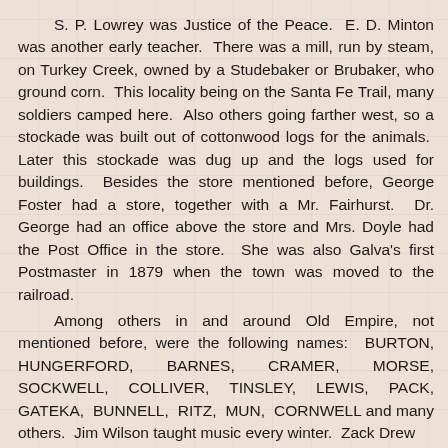S. P. Lowrey was Justice of the Peace.  E. D. Minton was another early teacher.  There was a mill, run by steam, on Turkey Creek, owned by a Studebaker or Brubaker, who ground corn.  This locality being on the Santa Fe Trail, many soldiers camped here.  Also others going farther west, so a stockade was built out of cottonwood logs for the animals.  Later this stockade was dug up and the logs used for buildings.  Besides the store mentioned before, George Foster had a store, together with a Mr. Fairhurst.  Dr. George had an office above the store and Mrs. Doyle had the Post Office in the store.  She was also Galva's first Postmaster in 1879 when the town was moved to the railroad.
Among others in and around Old Empire, not mentioned before, were the following names:  BURTON, HUNGERFORD,     BARNES,     CRAMER,     MORSE, SOCKWELL,    COLLIVER,    TINSLEY,    LEWIS,    PACK, GATEKA,  BUNNELL,  RITZ,  MUN,  CORNWELL and many others.  Jim Wilson taught music every winter.  Zack Drew